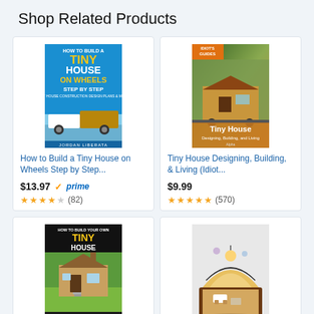Shop Related Products
[Figure (photo): Book cover: How to Build a Tiny House on Wheels Step by Step by Jordan Liberata]
How to Build a Tiny House on Wheels Step by Step...
$13.97 ✓prime
★★★★☆ (82)
[Figure (photo): Book cover: Tiny House Designing, Building, and Living (Idiot's Guides)]
Tiny House Designing, Building, & Living (Idiot...
$9.99
★★★★½ (570)
[Figure (photo): Book cover: How To Build Your Own Tiny House]
How To Build Your Own Tiny House
[Figure (photo): Product photo: DIY Tiny House Miniature Kit with Furniture, DIY Miniature Dollhouse Kit]
DIY Tiny House Miniature Kit with Furniture, DIY Miniature Dollhouse Kit